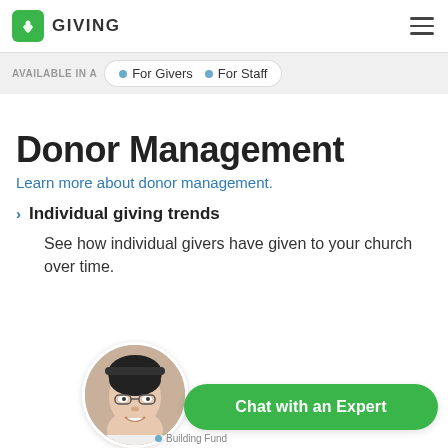GIVING
AVAILABLE IN A   • For Givers   • For Staff
Donor Management
Learn more about donor management.
Individual giving trends
See how individual givers have given to your church over time.
[Figure (photo): Avatar photo of a smiling Asian man with glasses]
Chat with an Expert
Building Fund